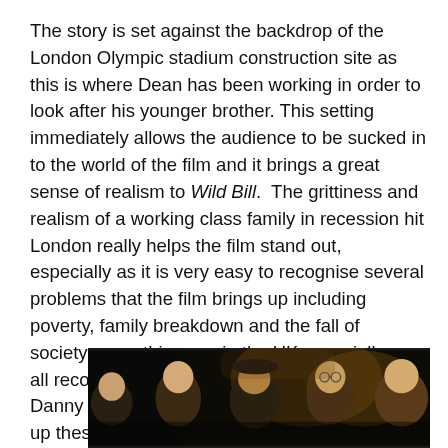The story is set against the backdrop of the London Olympic stadium construction site as this is where Dean has been working in order to look after his younger brother. This setting immediately allows the audience to be sucked in to the world of the film and it brings a great sense of realism to Wild Bill.  The grittiness and realism of a working class family in recession hit London really helps the film stand out, especially as it is very easy to recognise several problems that the film brings up including poverty, family breakdown and the fall of society; something we, in the UK especially, can all recognise. Credit has to go to Fletcher and Danny King, the writers of the film, to bringing up these problems for all to see.
[Figure (photo): A dark photograph showing several people, partially visible, appearing to be at some event or gathering. The image is cropped at the bottom of the page.]